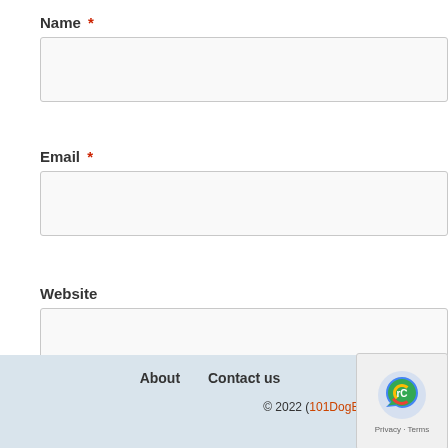Name *
Email *
Website
Post Comment
About   Contact us
© 2022 (101DogBreeds.com). All rights reserved. Reproduction in whole without permission is prohibited.